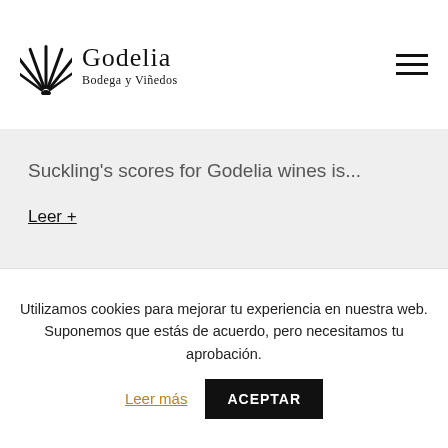Godelia Bodega y Viñedos
Suckling's scores for Godelia wines is...
Leer +
[Figure (photo): Close-up photo of wine barrels or similar warm amber/brown toned image]
Utilizamos cookies para mejorar tu experiencia en nuestra web. Suponemos que estás de acuerdo, pero necesitamos tu aprobación. Leer más ACEPTAR